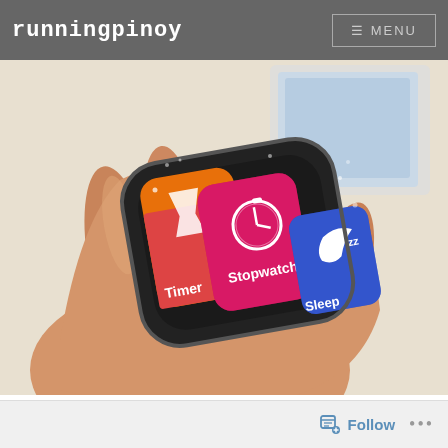runningpinoy | MENU
[Figure (photo): A hand holding a Samsung Gear Fit smartband/fitness tracker displaying a colorful menu screen with Timer, Stopwatch, and Sleep options. Background shows product packaging.]
Follow ...